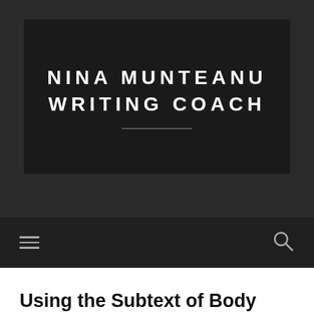NINA MUNTEANU WRITING COACH
[Figure (screenshot): Website screenshot showing the header banner of 'Nina Munteanu Writing Coach' blog with dark background, bold white uppercase text, a horizontal divider, and a navigation bar with hamburger menu and search icon.]
Using the Subtext of Body Language in Storytelling
NOVEMBER 27, 2014 / THEALIENNEXTDOOR